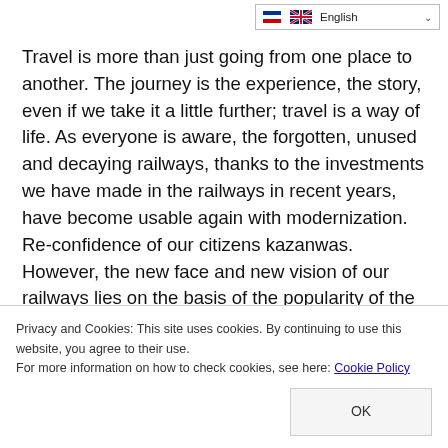English
Travel is more than just going from one place to another. The journey is the experience, the story, even if we take it a little further; travel is a way of life. As everyone is aware, the forgotten, unused and decaying railways, thanks to the investments we have made in the railways in recent years, have become usable again with modernization. Re-confidence of our citizens kazanwas. However, the new face and new vision of our railways lies on the basis of the popularity of the Eastern Express recently. The Eastern Express, which once carried only 20 to 30 thousand passengers a year, hosted over 200 thousand passengers three years ago; The fact that this
Privacy and Cookies: This site uses cookies. By continuing to use this website, you agree to their use.
For more information on how to check cookies, see here: Cookie Policy
OK